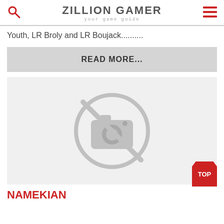ZILLION GAMER your game guide
Youth, LR Broly and LR Boujack..........
READ MORE...
[Figure (other): Placeholder image with no-photo icon (camera with slash through it)]
NAMEKIAN